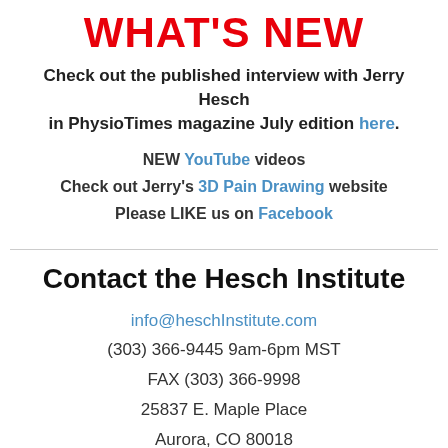WHAT'S NEW
Check out the published interview with Jerry Hesch in PhysioTimes magazine July edition here.
NEW YouTube videos
Check out Jerry's 3D Pain Drawing website
Please LIKE us on Facebook
Contact the Hesch Institute
info@heschInstitute.com
(303) 366-9445 9am-6pm MST
FAX (303) 366-9998
25837 E. Maple Place
Aurora, CO 80018